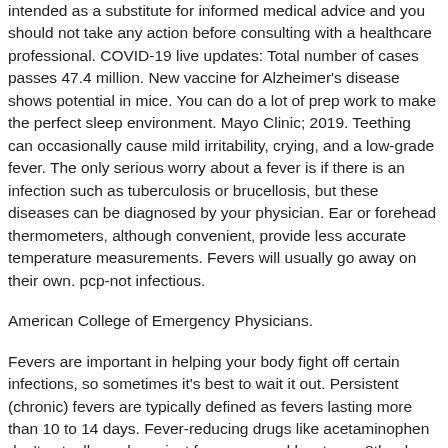intended as a substitute for informed medical advice and you should not take any action before consulting with a healthcare professional. COVID-19 live updates: Total number of cases passes 47.4 million. New vaccine for Alzheimer's disease shows potential in mice. You can do a lot of prep work to make the perfect sleep environment. Mayo Clinic; 2019. Teething can occasionally cause mild irritability, crying, and a low-grade fever. The only serious worry about a fever is if there is an infection such as tuberculosis or brucellosis, but these diseases can be diagnosed by your physician. Ear or forehead thermometers, although convenient, provide less accurate temperature measurements. Fevers will usually go away on their own. pcp-not infectious.
American College of Emergency Physicians.
Fevers are important in helping your body fight off certain infections, so sometimes it's best to wait it out. Persistent (chronic) fevers are typically defined as fevers lasting more than 10 to 14 days. Fever-reducing drugs like acetaminophen don't actually work against fevers caused by stress. 8th ed. Normal body temperature...